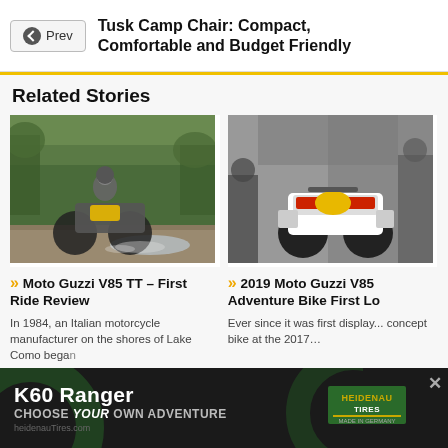← Prev | Tusk Camp Chair: Compact, Comfortable and Budget Friendly
Related Stories
[Figure (photo): Rider on a Moto Guzzi V85 TT adventure motorcycle riding on a rocky dirt trail surrounded by green foliage]
[Figure (photo): 2019 Moto Guzzi V85 concept adventure bike displayed indoors with people around it, showing yellow fuel tank and panniers]
» Moto Guzzi V85 TT – First Ride Review
In 1984, an Italian motorcycle manufacturer on the shores of Lake Como bega...
» 2019 Moto Guzzi V85 Adventure Bike First Lo...
Ever since it was first displayed as a concept bike at the 2017...
[Figure (infographic): Heidenau K60 Ranger tire advertisement: dark background with partial tire image, text reads 'K60 Ranger — CHOOSE YOUR OWN ADVENTURE', Heidenau Tires logo, Made in Germany]